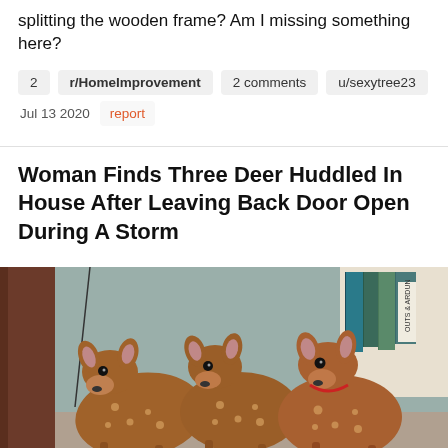splitting the wooden frame? Am I missing something here?
2  r/HomeImprovement  2 comments  u/sexytree23
Jul 13 2020  report
Woman Finds Three Deer Huddled In House After Leaving Back Door Open During A Storm
[Figure (photo): Three spotted fawns huddled together on a floor next to a bookshelf with books visible in the background and a wooden door frame on the left.]